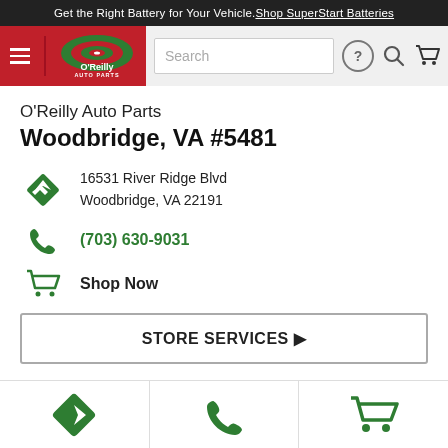Get the Right Battery for Your Vehicle. Shop SuperStart Batteries
[Figure (screenshot): O'Reilly Auto Parts navigation header with hamburger menu, logo, search bar, help icon, search icon, and cart icon]
O'Reilly Auto Parts Woodbridge, VA #5481
16531 River Ridge Blvd Woodbridge, VA 22191
(703) 630-9031
Shop Now
STORE SERVICES ▶
[Figure (infographic): Bottom navigation bar with three icon cells: directions (green diamond arrow), phone (green phone), and cart (green cart)]